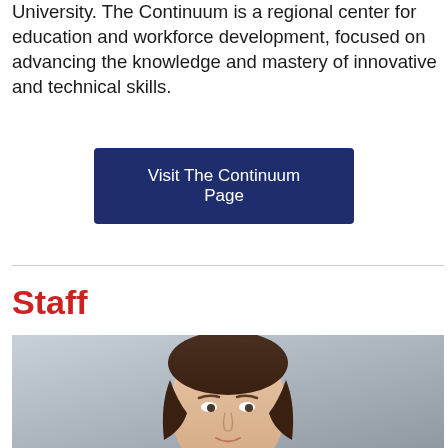University. The Continuum is a regional center for education and workforce development, focused on advancing the knowledge and mastery of innovative and technical skills.
[Figure (other): Dark navy blue button labeled 'Visit The Continuum Page']
Staff
[Figure (photo): Professional headshot of a woman with brown hair against a gray background, cropped at forehead level showing face and upper shoulders]